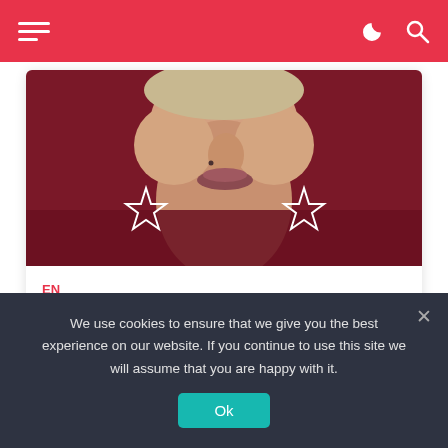Navigation bar with hamburger menu, moon icon, and search icon
[Figure (photo): Close-up photo of a person's face and neck area with star-shaped earrings, reddish/dark red background]
EN
article  On 8 months Ago
Living Out Loud (song)
We use cookies to ensure that we give you the best experience on our website. If you continue to use this site we will assume that you are happy with it.